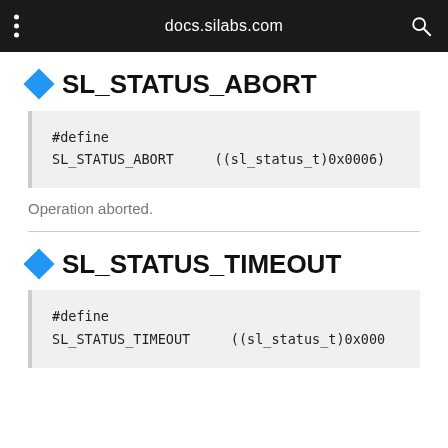docs.silabs.com
SL_STATUS_ABORT
Operation aborted.
SL_STATUS_TIMEOUT